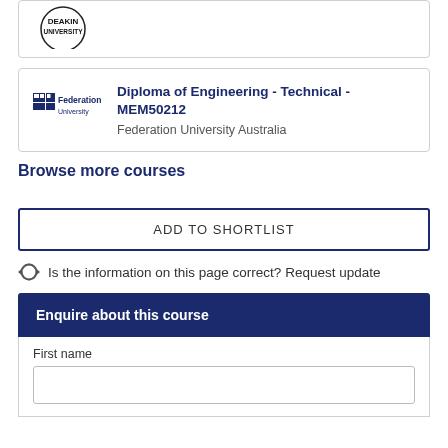[Figure (logo): Deakin University circular logo at top of page (partial card)]
[Figure (logo): Federation University logo]
Diploma of Engineering - Technical - MEM50212
Federation University Australia
Browse more courses
ADD TO SHORTLIST
Is the information on this page correct? Request update
Enquire about this course
First name